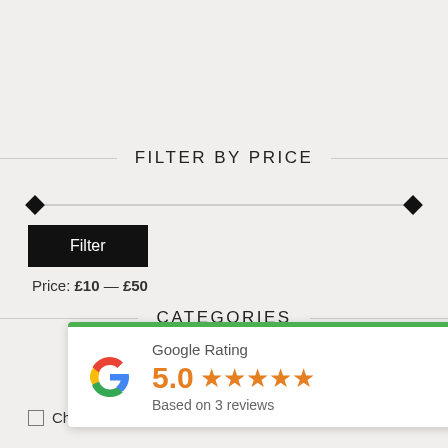FILTER BY PRICE
[Figure (other): Price range slider with diamond handles at both ends, spanning the full width]
Filter
Price: £10 — £50
CATEGORIES
[Figure (infographic): Google Rating card showing 5.0 rating with 5 orange stars and 'Based on 3 reviews']
Champagnes